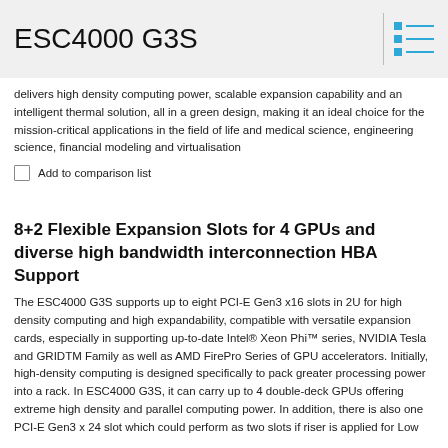ESC4000 G3S
delivers high density computing power, scalable expansion capability and an intelligent thermal solution, all in a green design, making it an ideal choice for the mission-critical applications in the field of life and medical science, engineering science, financial modeling and virtualisation
Add to comparison list
8+2 Flexible Expansion Slots for 4 GPUs and diverse high bandwidth interconnection HBA Support
The ESC4000 G3S supports up to eight PCI-E Gen3 x16 slots in 2U for high density computing and high expandability, compatible with versatile expansion cards, especially in supporting up-to-date Intel® Xeon Phi™ series, NVIDIA Tesla and GRIDTM Family as well as AMD FirePro Series of GPU accelerators. Initially, high-density computing is designed specifically to pack greater processing power into a rack. In ESC4000 G3S, it can carry up to 4 double-deck GPUs offering extreme high density and parallel computing power. In addition, there is also one PCI-E Gen3 x 24 slot which could perform as two slots if riser is applied for Low